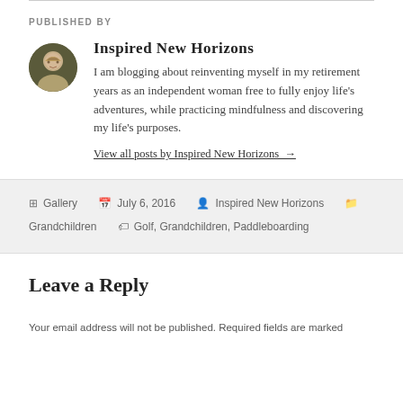PUBLISHED BY
Inspired New Horizons
I am blogging about reinventing myself in my retirement years as an independent woman free to fully enjoy life's adventures, while practicing mindfulness and discovering my life's purposes.
View all posts by Inspired New Horizons →
Gallery  July 6, 2016  Inspired New Horizons  Grandchildren  Golf, Grandchildren, Paddleboarding
Leave a Reply
Your email address will not be published. Required fields are marked